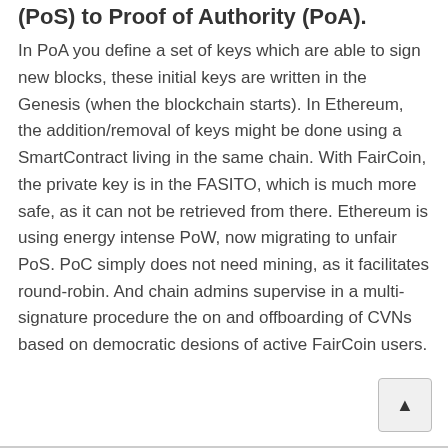(PoS) to Proof of Authority (PoA).
In PoA you define a set of keys which are able to sign new blocks, these initial keys are written in the Genesis (when the blockchain starts). In Ethereum, the addition/removal of keys might be done using a SmartContract living in the same chain. With FairCoin, the private key is in the FASITO, which is much more safe, as it can not be retrieved from there. Ethereum is using energy intense PoW, now migrating to unfair PoS. PoC simply does not need mining, as it facilitates round-robin. And chain admins supervise in a multi-signature procedure the on and offboarding of CVNs based on democratic desions of active FairCoin users.